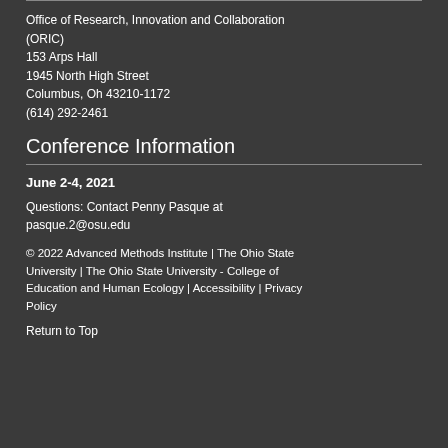Office of Research, Innovation and Collaboration (ORIC)
153 Arps Hall
1945 North High Street
Columbus, Oh 43210-1172
(614) 292-2461
Conference Information
June 2-4, 2021
Questions: Contact Penny Pasque at pasque.2@osu.edu
© 2022 Advanced Methods Institute | The Ohio State University | The Ohio State University - College of Education and Human Ecology | Accessibility | Privacy Policy
Return to Top